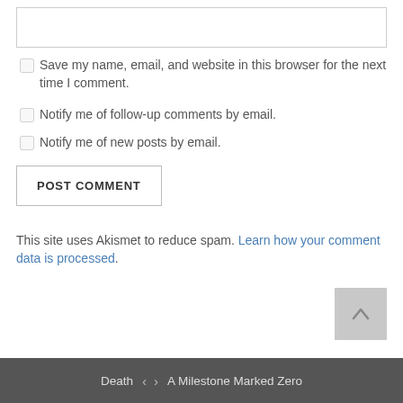Save my name, email, and website in this browser for the next time I comment.
Notify me of follow-up comments by email.
Notify me of new posts by email.
POST COMMENT
This site uses Akismet to reduce spam. Learn how your comment data is processed.
Death < > A Milestone Marked Zero